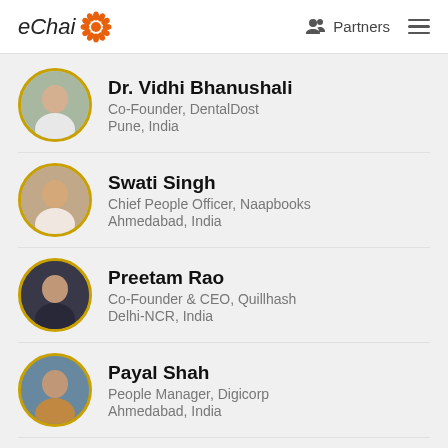eChai Partners
Dr. Vidhi Bhanushali
Co-Founder, DentalDost
Pune, India
Swati Singh
Chief People Officer, Naapbooks
Ahmedabad, India
Preetam Rao
Co-Founder & CEO, Quillhash
Delhi-NCR, India
Payal Shah
People Manager, Digicorp
Ahmedabad, India
Bharat Tibrewal
Co-Founder, Bebe Burp
Surat, India
Akshay Mehrotra
Co-Founder & CEO, EarlySalary